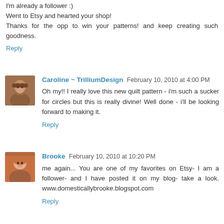I'm already a follower :)
Went to Etsy and hearted your shop!
Thanks for the opp to win your patterns! and keep creating such goodness.
Reply
Caroline ~ TrilliumDesign  February 10, 2010 at 4:00 PM
Oh my!! I really love this new quilt pattern - i'm such a sucker for circles but this is really divine! Well done - i'll be looking forward to making it.
Reply
Brooke  February 10, 2010 at 10:20 PM
me again... You are one of my favorites on Etsy- I am a follower- and I have posted it on my blog- take a look. www.domesticallybrooke.blogspot.com
Reply